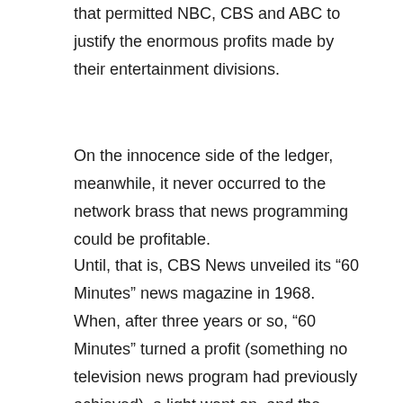that permitted NBC, CBS and ABC to justify the enormous profits made by their entertainment divisions.
On the innocence side of the ledger, meanwhile, it never occurred to the network brass that news programming could be profitable.
Until, that is, CBS News unveiled its “60 Minutes” news magazine in 1968. When, after three years or so, “60 Minutes” turned a profit (something no television news program had previously achieved), a light went on, and the news divisions of all three networks came to be seen as profit centers, with all the expectations that entailed.
In the Washington mattin...